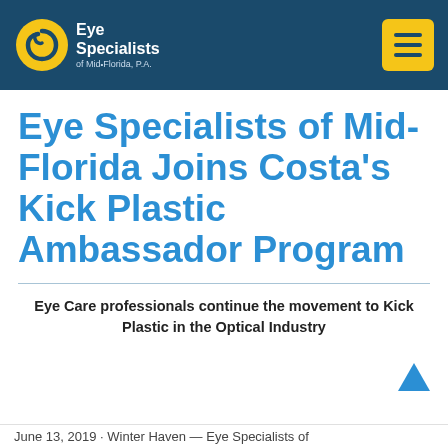Eye Specialists of Mid·Florida, P.A. — navigation header with hamburger menu
Eye Specialists of Mid-Florida Joins Costa's Kick Plastic Ambassador Program
Eye Care professionals continue the movement to Kick Plastic in the Optical Industry
June 13, 2019 - Winter Haven — Eye Specialists of